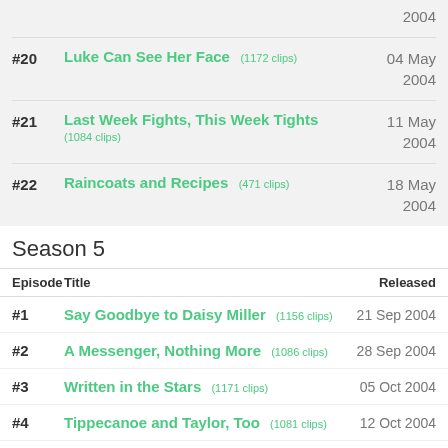2004 (date only, top row continuation)
#20 Luke Can See Her Face (1172 clips) 04 May 2004
#21 Last Week Fights, This Week Tights (1084 clips) 11 May 2004
#22 Raincoats and Recipes (471 clips) 18 May 2004
Season 5
| Episode | Title | Released |
| --- | --- | --- |
| #1 | Say Goodbye to Daisy Miller (1156 clips) | 21 Sep 2004 |
| #2 | A Messenger, Nothing More (1086 clips) | 28 Sep 2004 |
| #3 | Written in the Stars (1171 clips) | 05 Oct 2004 |
| #4 | Tippecanoe and Taylor, Too (1081 clips) | 12 Oct 2004 |
| #5 | (truncated) | 19 Oct 2004 |